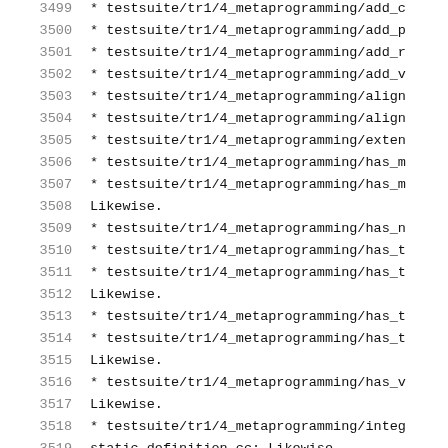3499    * testsuite/tr1/4_metaprogramming/add_c
3500    * testsuite/tr1/4_metaprogramming/add_p
3501    * testsuite/tr1/4_metaprogramming/add_r
3502    * testsuite/tr1/4_metaprogramming/add_v
3503    * testsuite/tr1/4_metaprogramming/align
3504    * testsuite/tr1/4_metaprogramming/align
3505    * testsuite/tr1/4_metaprogramming/exten
3506    * testsuite/tr1/4_metaprogramming/has_m
3507    * testsuite/tr1/4_metaprogramming/has_m
3508    Likewise.
3509    * testsuite/tr1/4_metaprogramming/has_n
3510    * testsuite/tr1/4_metaprogramming/has_t
3511    * testsuite/tr1/4_metaprogramming/has_t
3512    Likewise.
3513    * testsuite/tr1/4_metaprogramming/has_t
3514    * testsuite/tr1/4_metaprogramming/has_t
3515    Likewise.
3516    * testsuite/tr1/4_metaprogramming/has_v
3517    Likewise.
3518    * testsuite/tr1/4_metaprogramming/integ
3519    static_definition.cc: Likewise.